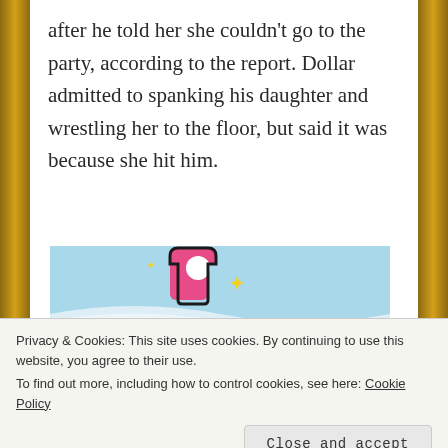after he told her she couldn't go to the party, according to the report. Dollar admitted to spanking his daughter and wrestling her to the floor, but said it was because she hit him.
[Figure (illustration): Tumblr ad-free banner with a pink Tumblr logo, sparkles, and blue sky background with text 'TUMBLR AD-FREE']
Privacy & Cookies: This site uses cookies. By continuing to use this website, you agree to their use. To find out more, including how to control cookies, see here: Cookie Policy
Close and accept